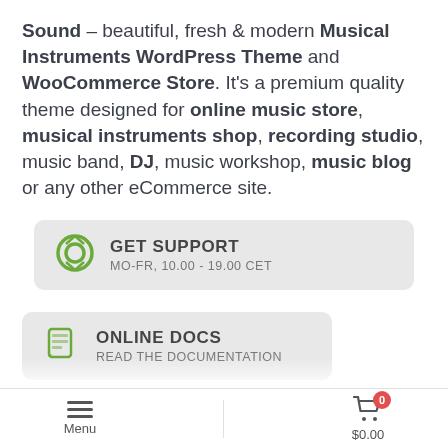Sound – beautiful, fresh & modern Musical Instruments WordPress Theme and WooCommerce Store. It's a premium quality theme designed for online music store, musical instruments shop, recording studio, music band, DJ, music workshop, music blog or any other eCommerce site.
[Figure (infographic): GET SUPPORT button with circular icon, showing hours MO-FR, 10.00 - 19.00 CET]
[Figure (infographic): ONLINE DOCS button with document icon, showing READ THE DOCUMENTATION]
Premade woocommerce store
Menu | $0.00 cart with 0 items